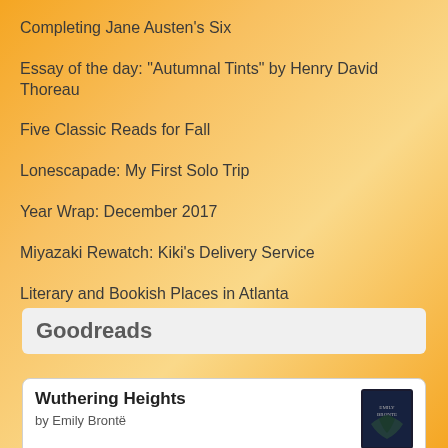Completing Jane Austen's Six
Essay of the day: "Autumnal Tints" by Henry David Thoreau
Five Classic Reads for Fall
Lonescapade: My First Solo Trip
Year Wrap: December 2017
Miyazaki Rewatch: Kiki's Delivery Service
Literary and Bookish Places in Atlanta
Goodreads
Wuthering Heights
by Emily Brontë